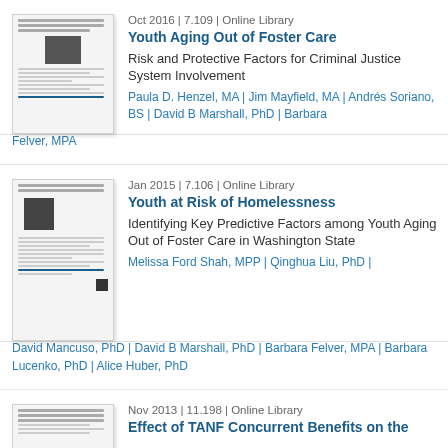[Figure (other): Thumbnail of document page for Youth Aging Out of Foster Care report]
Oct 2016 | 7.109 | Online Library
Youth Aging Out of Foster Care
Risk and Protective Factors for Criminal Justice System Involvement
Paula D. Henzel, MA | Jim Mayfield, MA | Andrés Soriano, BS | David B Marshall, PhD | Barbara Felver, MPA
[Figure (other): Thumbnail of document page for Youth at Risk of Homelessness report]
Jan 2015 | 7.106 | Online Library
Youth at Risk of Homelessness
Identifying Key Predictive Factors among Youth Aging Out of Foster Care in Washington State
Melissa Ford Shah, MPP | Qinghua Liu, PhD | David Mancuso, PhD | David B Marshall, PhD | Barbara Felver, MPA | Barbara Lucenko, PhD | Alice Huber, PhD
[Figure (other): Thumbnail of document page for Effect of TANF Concurrent Benefits report]
Nov 2013 | 11.198 | Online Library
Effect of TANF Concurrent Benefits on the